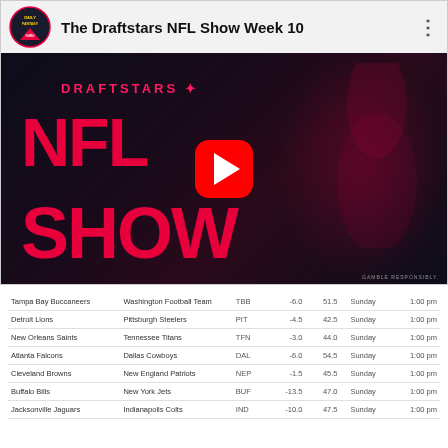[Figure (screenshot): YouTube video thumbnail for 'The Draftstars NFL Show Week 10'. Dark background with red NFL SHOW text, Draftstars branding, a football player silhouette, and a YouTube play button in the center.]
| Team 1 | Team 2 | Code | Spread | Total | Day | Time |
| --- | --- | --- | --- | --- | --- | --- |
| Tampa Bay Buccaneers | Washington Football Team | TBB | -6.0 | 51.5 | Sunday | 1:00 pm |
| Detroit Lions | Pittsburgh Steelers | PIT | -4.5 | 42.5 | Sunday | 1:00 pm |
| New Orleans Saints | Tennessee Titans | TFN | -3.0 | 44.0 | Sunday | 1:00 pm |
| Atlanta Falcons | Dallas Cowboys | DAL | -6.0 | 54.5 | Sunday | 1:00 pm |
| Cleveland Browns | New England Patriots | NEP | -1.5 | 45.5 | Sunday | 1:00 pm |
| Buffalo Bills | New York Jets | BUF | -13.5 | 47.0 | Sunday | 1:00 pm |
| Jacksonville Jaguars | Indianapolis Colts | IND | -10.0 | 47.5 | Sunday | 1:00 pm |